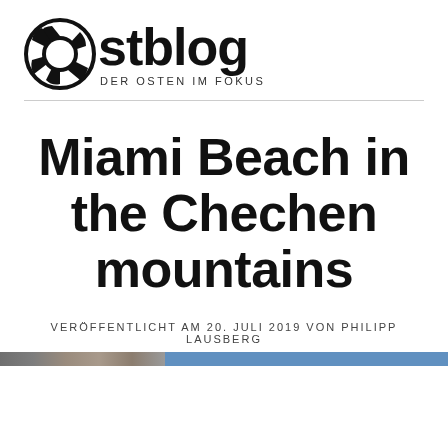[Figure (logo): Ostblog logo: camera aperture icon on left, large bold text 'stblog' on right, subtitle 'DER OSTEN IM FOKUS' below]
Miami Beach in the Chechen mountains
VERÖFFENTLICHT AM 20. JULI 2019 VON PHILIPP LAUSBERG
[Figure (photo): Partial image strip at bottom: left portion shows dark rocky/stone texture photo, right portion is solid blue bar]